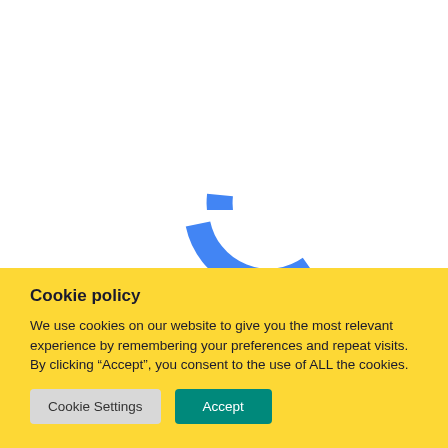[Figure (screenshot): Partial screenshot of a Google-like webpage background showing parts of colorful Google logo letters (blue arc, green bar) against white background, with a bordered element at top right corner.]
Cookie policy
We use cookies on our website to give you the most relevant experience by remembering your preferences and repeat visits. By clicking “Accept”, you consent to the use of ALL the cookies.
Cookie Settings  Accept